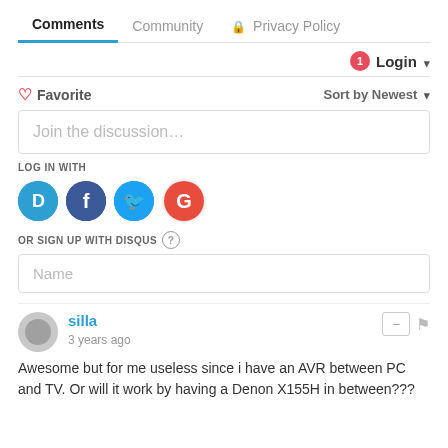Comments  Community  Privacy Policy
Login ▾
♡ Favorite   Sort by Newest ▾
Join the discussion...
LOG IN WITH
[Figure (other): Social login icons: Disqus (D), Facebook (f), Twitter bird, Google (G)]
OR SIGN UP WITH DISQUS ?
Name
silla
3 years ago
Awesome but for me useless since i have an AVR between PC and TV. Or will it work by having a Denon X155H in between???